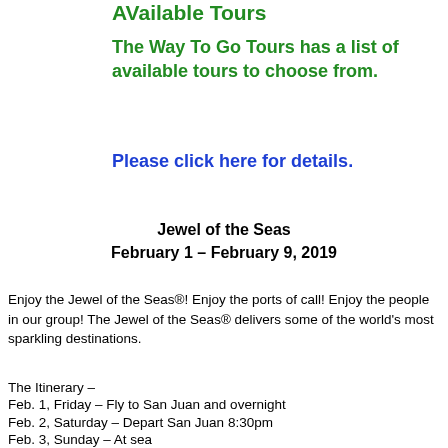AVailable Tours
The Way To Go Tours has a list of available tours to choose from.
Please click here for details.
Jewel of the Seas
February 1 – February 9, 2019
Enjoy the Jewel of the Seas®! Enjoy the ports of call! Enjoy the people in our group! The Jewel of the Seas® delivers some of the world's most sparkling destinations.
The Itinerary –
Feb. 1, Friday – Fly to San Juan and overnight
Feb. 2, Saturday – Depart San Juan 8:30pm
Feb. 3, Sunday – At sea
Feb. 4, Monday – Bridgetown, Barbados...